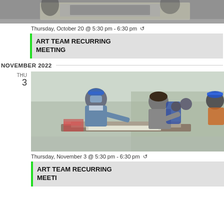[Figure (photo): Top cropped photo of people at a screen printing table, partial view]
Thursday, October 20 @ 5:30 pm - 6:30 pm ↻
ART TEAM RECURRING MEETING
NOVEMBER 2022
THU 3
[Figure (photo): People at an outdoor event doing screen printing, woman in blue bandana and mask on left, person leaning over table on right, people in blue hats in background]
Thursday, November 3 @ 5:30 pm - 6:30 pm ↻
ART TEAM RECURRING MEETING